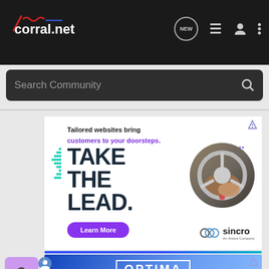[Figure (screenshot): corral.net website navigation bar with logo, NEW chat icon, list icon, user icon, and menu icon on dark background]
[Figure (screenshot): Search Community search bar on dark background]
[Figure (advertisement): Sincro advertisement: 'Tailored websites bring customers to your doorsteps. TAKE THE LEAD.' with Learn More button and car steering wheel image]
[Figure (advertisement): Optima Batteries advertisement banner at bottom]